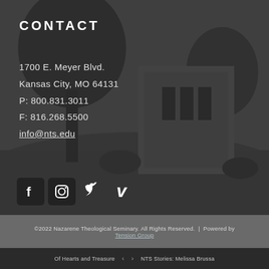[Figure (photo): Black and white photo of Nazarene Theological Seminary campus building with trees and lawn]
CONTACT
1700 E. Meyer Blvd.
Kansas City, MO 64131
P: 800.831.3011
F: 816.268.5500
info@nts.edu
[Figure (infographic): Social media icons: Facebook, Instagram, Twitter, Vimeo]
©2022 Nazarene Theological Seminary. All Rights Reserved. | Powered by Tension Group
Of Hearts and Treasure  <  >  NTS Stories: Melissa Brussa